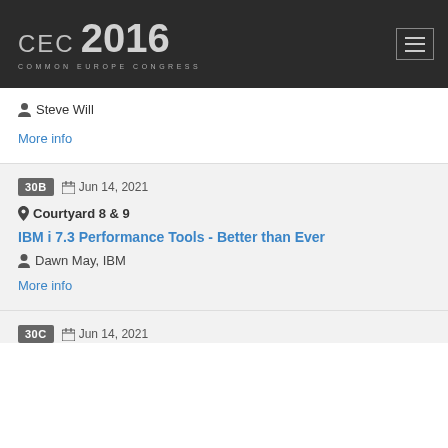CEC 2016 COMMON EUROPE CONGRESS
Steve Will
More info
30B  Jun 14, 2021
Courtyard 8 & 9
IBM i 7.3 Performance Tools - Better than Ever
Dawn May, IBM
More info
30C  Jun 14, 2021